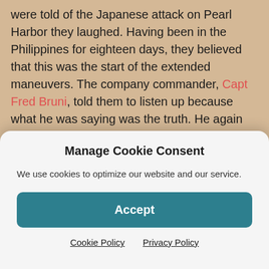were told of the Japanese attack on Pearl Harbor they laughed. Having been in the Philippines for eighteen days, they believed that this was the start of the extended maneuvers. The company commander, Capt Fred Bruni, told them to listen up because what he was saying was the truth. He again told them that Pearl Harbor had been bombed, and they were given guns and told to clean them. As they did this, they still believed that they had started maneuvers. The tank companies were ordered to Clark Field to guard it against Japanese paratroopers. It was around noon that this belief was blown away
Manage Cookie Consent
We use cookies to optimize our website and our service.
Accept
Cookie Policy  Privacy Policy